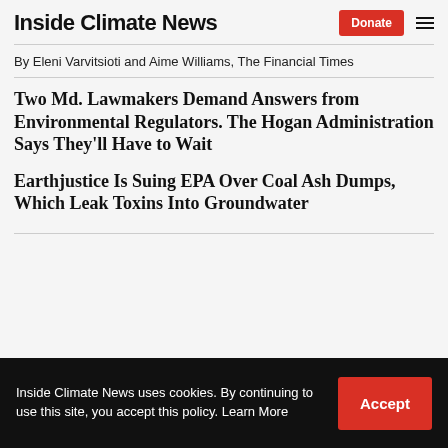Inside Climate News
By Eleni Varvitsioti and Aime Williams, The Financial Times
Two Md. Lawmakers Demand Answers from Environmental Regulators. The Hogan Administration Says They'll Have to Wait
Earthjustice Is Suing EPA Over Coal Ash Dumps, Which Leak Toxins Into Groundwater
Inside Climate News uses cookies. By continuing to use this site, you accept this policy. Learn More